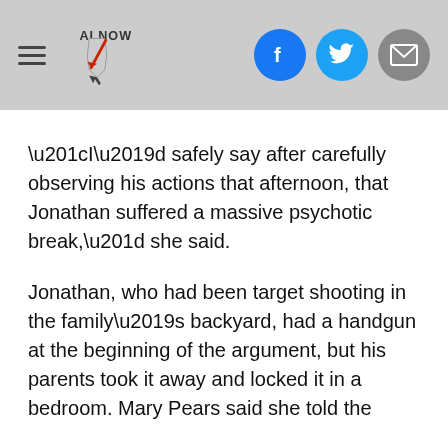AL NOW [logo with hamburger menu and social icons]
“I’d safely say after carefully observing his actions that afternoon, that Jonathan suffered a massive psychotic break,” she said.
Jonathan, who had been target shooting in the family’s backyard, had a handgun at the beginning of the argument, but his parents took it away and locked it in a bedroom. Mary Pears said she told the